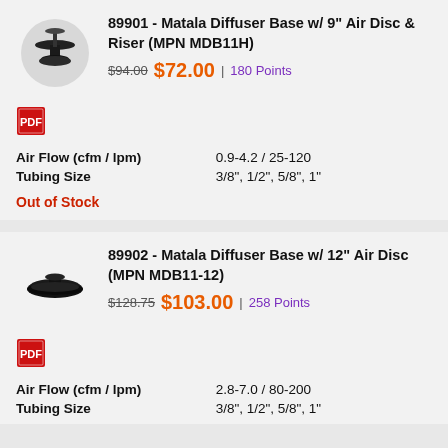[Figure (photo): Matala Diffuser Base product image - small diffuser base with disc and riser, circular background]
89901 - Matala Diffuser Base w/ 9" Air Disc & Riser (MPN MDB11H)
$94.00 $72.00 | 180 Points
[Figure (other): PDF icon - red box with white PDF text]
| Air Flow (cfm / lpm) | 0.9-4.2 / 25-120 |
| Tubing Size | 3/8", 1/2", 5/8", 1" |
Out of Stock
[Figure (photo): Matala Diffuser Base product image - 12 inch circular black air disc diffuser base]
89902 - Matala Diffuser Base w/ 12" Air Disc (MPN MDB11-12)
$128.75 $103.00 | 258 Points
[Figure (other): PDF icon - red box with white PDF text]
| Air Flow (cfm / lpm) | 2.8-7.0 / 80-200 |
| Tubing Size | 3/8", 1/2", 5/8", 1" |